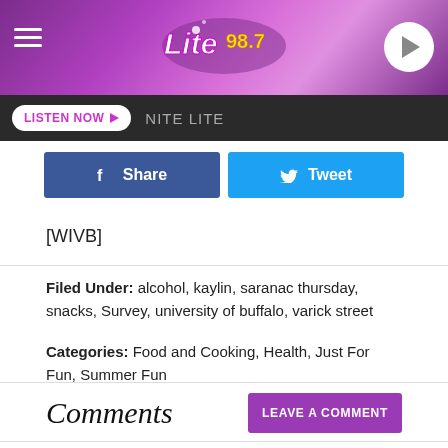[Figure (logo): Lite 98.7 radio station header banner with pink/purple gradient background, hamburger menu icon on left, Lite 98.7 logo in center, play button on right]
LISTEN NOW ▶  NITE LITE
[Figure (other): Facebook Share button (blue) and Twitter Tweet button (cyan) side by side]
[WIVB]
Filed Under: alcohol, kaylin, saranac thursday, snacks, Survey, university of buffalo, varick street
Categories: Food and Cooking, Health, Just For Fun, Summer Fun
Comments
LEAVE A COMMENT